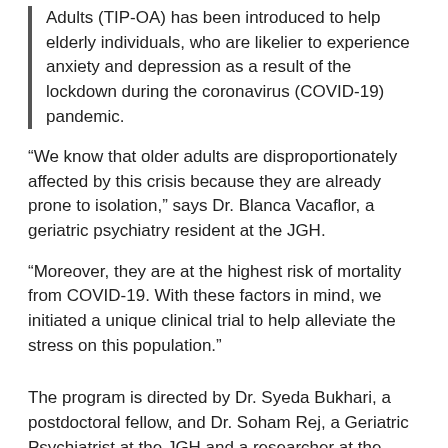Adults (TIP-OA) has been introduced to help elderly individuals, who are likelier to experience anxiety and depression as a result of the lockdown during the coronavirus (COVID-19) pandemic.
“We know that older adults are disproportionately affected by this crisis because they are already prone to isolation,” says Dr. Blanca Vacaflor, a geriatric psychiatry resident at the JGH.
“Moreover, they are at the highest risk of mortality from COVID-19. With these factors in mind, we initiated a unique clinical trial to help alleviate the stress on this population.”
The program is directed by Dr. Syeda Bukhari, a postdoctoral fellow, and Dr. Soham Rej, a Geriatric Psychiatrist at the JGH and a researcher at the Lady Davis Institute.
Since CIUSSS West-Central Montreal is home to the largest number of seniors in Quebec, the CIUSSS is the ideal venue for a data-driven assessment of new methods for delivering mental